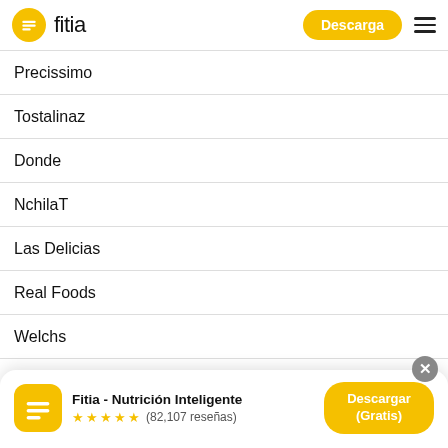fitia — Descarga
Precissimo
Tostalinaz
Donde
NchilaT
Las Delicias
Real Foods
Welchs
[Figure (screenshot): App download banner: Fitia - Nutrición Inteligente, 5 stars, (82,107 reseñas), Descargar (Gratis) button]
Soe Light